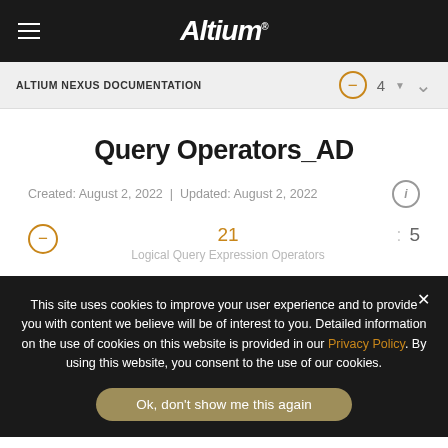Altium
ALTIUM NEXUS DOCUMENTATION
Query Operators_AD
Created: August 2, 2022 | Updated: August 2, 2022
21 : 5
Logical Query Expression Operators
This site uses cookies to improve your user experience and to provide you with content we believe will be of interest to you. Detailed information on the use of cookies on this website is provided in our Privacy Policy. By using this website, you consent to the use of our cookies.
Ok, don't show me this again